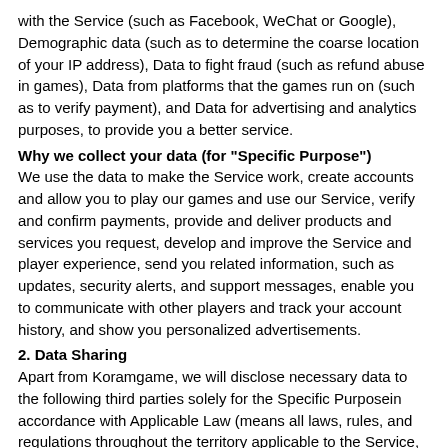with the Service (such as Facebook, WeChat or Google), Demographic data (such as to determine the coarse location of your IP address), Data to fight fraud (such as refund abuse in games), Data from platforms that the games run on (such as to verify payment), and Data for advertising and analytics purposes, to provide you a better service.
Why we collect your data (for "Specific Purpose")
We use the data to make the Service work, create accounts and allow you to play our games and use our Service, verify and confirm payments, provide and deliver products and services you request, develop and improve the Service and player experience, send you related information, such as updates, security alerts, and support messages, enable you to communicate with other players and track your account history, and show you personalized advertisements.
2. Data Sharing
Apart from Koramgame, we will disclose necessary data to the following third parties solely for the Specific Purposein accordance with Applicable Law (means all laws, rules, and regulations throughout the territory applicable to the Service, such as General Data Protection Regulations (EU) 2016/679): other players and users, Partners working for Koramgame, and any other international data transfers.
Koramgame will adhere to this Privacy Policy when disclosing certain information to third parties mentioned above, except in the following situations:
1)  Judicial requirements;
2)  When we find your behavior is illegal while you use All-